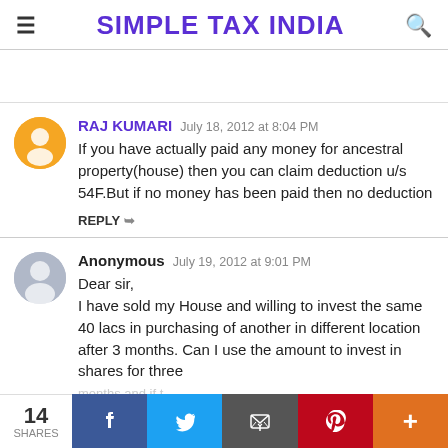SIMPLE TAX INDIA
RAJ KUMARI  July 18, 2012 at 8:04 PM
If you have actually paid any money for ancestral property(house) then you can claim deduction u/s 54F.But if no money has been paid then no deduction
REPLY
Anonymous  July 19, 2012 at 9:01 PM
Dear sir,
I have sold my House and willing to invest the same 40 lacs in purchasing of another in different location after 3 months. Can I use the amount to invest in shares for three months and if tenthe capital of the same amount will
14 SHARES